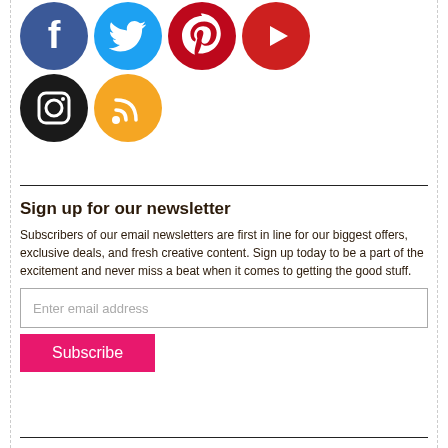[Figure (illustration): Social media icons: Facebook (blue), Twitter (light blue), Pinterest (red), YouTube (red), Instagram (black), RSS (orange) arranged in two rows of circular icons]
Sign up for our newsletter
Subscribers of our email newsletters are first in line for our biggest offers, exclusive deals, and fresh creative content. Sign up today to be a part of the excitement and never miss a beat when it comes to getting the good stuff.
Enter email address
Subscribe